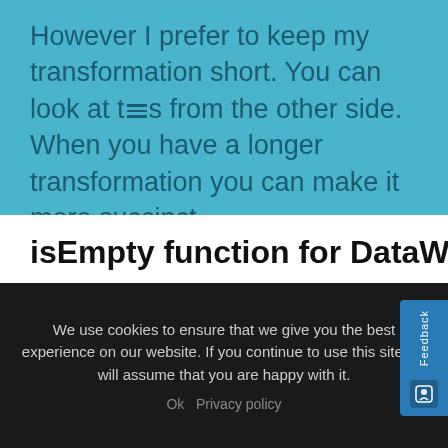However I prefer to keep my transformation short. You can look at this from the other side. When you have a longer transformation you can make it more succinct.
isEmpty function for DataWeave 1.0
In DataWeave 2.0 isEmpty function has been prepared. However for previous version no such function exists. You may use in that place below function
We use cookies to ensure that we give you the best experience on our website. If you continue to use this site we will assume that you are happy with it.

Ok  Privacy policy